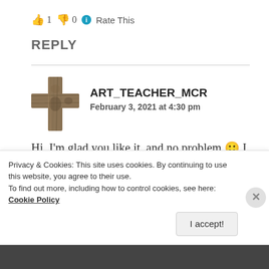👍 1 👎 0 ℹ Rate This
REPLY
ART_TEACHER_MCR
February 3, 2021 at 4:30 pm
Hi, I'm glad you like it, and no problem 🙂 I just shared it with you.
★ Like
Privacy & Cookies: This site uses cookies. By continuing to use this website, you agree to their use.
To find out more, including how to control cookies, see here: Cookie Policy
I accept!